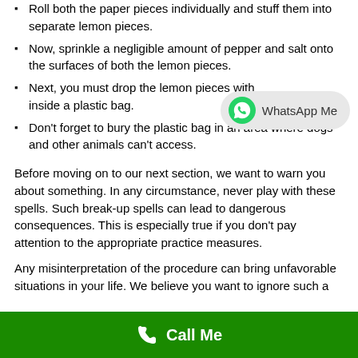Roll both the paper pieces individually and stuff them into separate lemon pieces.
Now, sprinkle a negligible amount of pepper and salt onto the surfaces of both the lemon pieces.
Next, you must drop the lemon pieces with inside a plastic bag.
Don't forget to bury the plastic bag in an area where dogs and other animals can't access.
Before moving on to our next section, we want to warn you about something. In any circumstance, never play with these spells. Such break-up spells can lead to dangerous consequences. This is especially true if you don't pay attention to the appropriate practice measures.
Any misinterpretation of the procedure can bring unfavorable situations in your life. We believe you want to ignore such a
[Figure (other): WhatsApp Me button with green WhatsApp logo icon on grey rounded pill background]
[Figure (other): Green Call Me bar at bottom of page with white phone icon and bold white text Call Me]